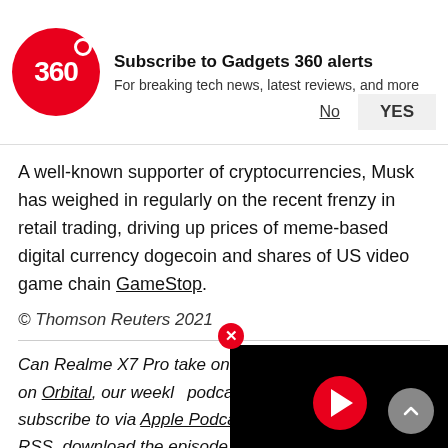[Figure (infographic): Subscribe to Gadgets 360 alerts banner with red 360 logo circle, title 'Subscribe to Gadgets 360 alerts', description 'For breaking tech news, latest reviews, and more', with No and YES buttons]
A well-known supporter of cryptocurrencies, Musk has weighed in regularly on the recent frenzy in retail trading, driving up prices of meme-based digital currency dogecoin and shares of US video game chain GameStop.
© Thomson Reuters 2021
Can Realme X7 Pro take on OnePlus... discussed this on Orbital, our weekly podcast, which you can subscribe to via Apple Podcasts, Google Podcasts, or RSS, download the episode, or just hit the play button below.
[Figure (screenshot): Black video player overlay with red circular play button in the center]